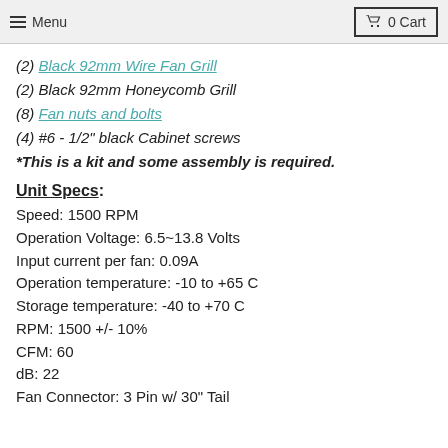Menu | 0 Cart
(2) Black 92mm Wire Fan Grill
(2) Black 92mm Honeycomb Grill
(8) Fan nuts and bolts
(4) #6 - 1/2" black Cabinet screws
*This is a kit and some assembly is required.
Unit Specs:
Speed: 1500 RPM
Operation Voltage: 6.5~13.8 Volts
Input current per fan: 0.09A
Operation temperature: -10 to +65 C
Storage temperature: -40 to +70 C
RPM: 1500 +/- 10%
CFM: 60
dB: 22
Fan Connector: 3 Pin w/ 30" Tail